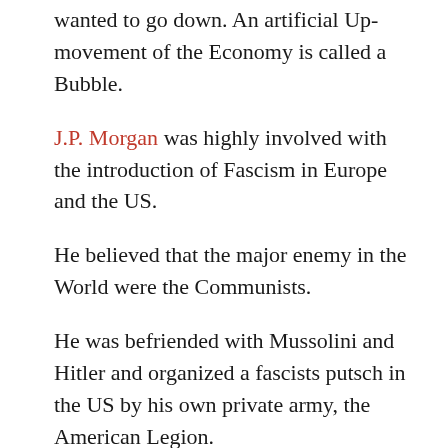wanted to go down. An artificial Up-movement of the Economy is called a Bubble.
J.P. Morgan was highly involved with the introduction of Fascism in Europe and the US.
He believed that the major enemy in the World were the Communists.
He was befriended with Mussolini and Hitler and organized a fascists putsch in the US by his own private army, the American Legion.
The putsch failed. The legion was used as a recruiting base for the rebirth of the Ku Klux Klan.
Morgan tried to...